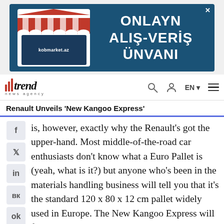[Figure (other): Advertisement banner for kobmarket.az with text 'ONLAYN ALIŞ-VERİŞ ÜNVANI' on dark blue background with shop/laptop illustration]
trend news agency — navigation bar with search, user, EN, and menu icons
Renault Unveils 'New Kangoo Express'
is, however, exactly why the Renault's got the upper-hand. Most middle-of-the-road car enthusiasts don't know what a Euro Pallet is (yeah, what is it?) but anyone who's been in the materials handling business will tell you that it's the standard 120 x 80 x 12 cm pallet widely used in Europe. The New Kangoo Express will fit a Euro Pallet and the light vans won't. Renault's also given the Kangoo several practical stowing solutions, with a 15-litre lidded glovebox, an overhead parcel shelf